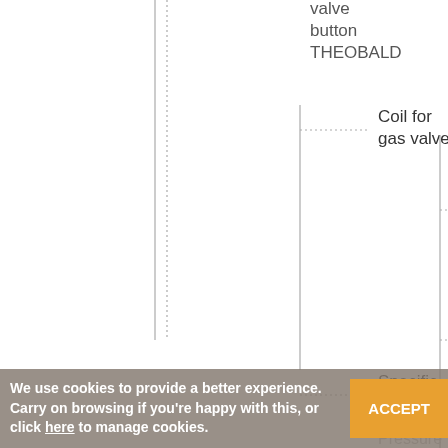[Figure (flowchart): Hierarchical tree diagram showing parts classification. Top right shows 'valve button THEOBALD'. A branch leads to 'Coil for gas valve', which then branches into 'Coil for gas valve SIT' and 'Coil for gas valve THEOBALD'. Below that are 'Specific piezo', 'Pressure switch air and gas', and 'Gas pressure switch' nodes partially visible.]
We use cookies to provide a better experience. Carry on browsing if you're happy with this, or click here to manage cookies.